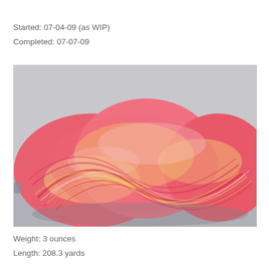Started: 07-04-09 (as WIP)
Completed: 07-07-09
[Figure (photo): A skein of handspun yarn with pink, red, yellow, and white twisted fibers, photographed close-up against a light grey background.]
Weight: 3 ounces
Length: 208.3 yards